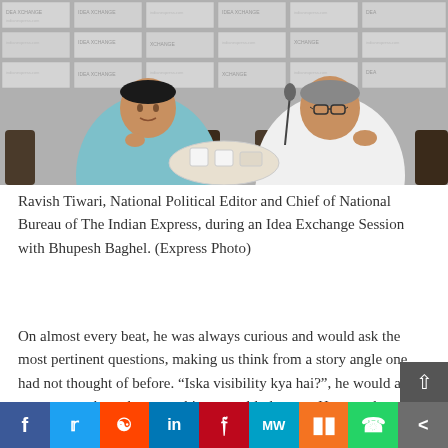[Figure (photo): Two men seated at a round table with mugs during an Idea Exchange session. Branded backdrop with 'IDEA XCHANGE' and 'indianexpress.com' logos. Left person wears teal/blue shirt, right person (Bhupesh Baghel) wears white kurta. A microphone is on the table.]
Ravish Tiwari, National Political Editor and Chief of National Bureau of The Indian Express, during an Idea Exchange Session with Bhupesh Baghel. (Express Photo)
On almost every beat, he was always curious and would ask the most pertinent questions, making us think from a story angle one had not thought of before. “Iska visibility kya hai?”, he would ask reporters on how they saw things would play out, He was always interested in the two big questions in